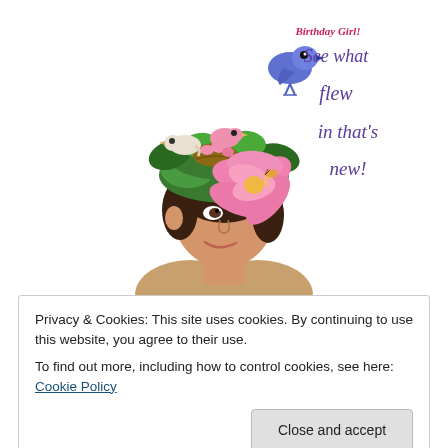[Figure (photo): Woman with an elaborate floral and nature-themed hat decorated with birds, a nest with pink eggs, large pink flowers, a butterfly, and green foliage. A purple/blue bird perches at the top. Decorative script text overlay reads 'See what flew in that’s new!' in purple italic script.]
Privacy & Cookies: This site uses cookies. By continuing to use this website, you agree to their use.
To find out more, including how to control cookies, see here: Cookie Policy
Close and accept